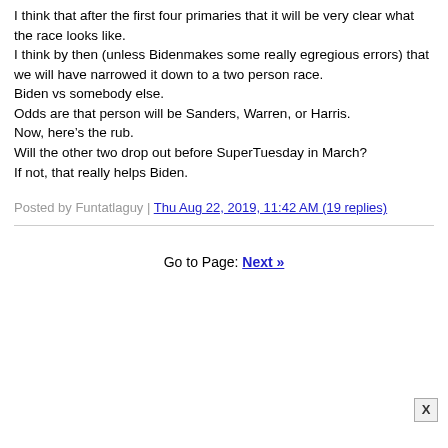I think that after the first four primaries that it will be very clear what the race looks like.
I think by then (unless Bidenmakes some really egregious errors) that we will have narrowed it down to a two person race.
Biden vs somebody else.
Odds are that person will be Sanders, Warren, or Harris.
Now, here's the rub.
Will the other two drop out before SuperTuesday in March?
If not, that really helps Biden.
Posted by Funtatlaguy | Thu Aug 22, 2019, 11:42 AM (19 replies)
Go to Page: Next »